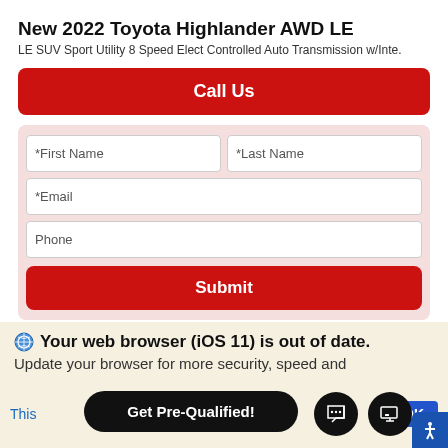New 2022 Toyota Highlander AWD LE
LE SUV Sport Utility 8 Speed Elect Controlled Auto Transmission w/Inte.
[Figure (screenshot): Red 'Call Us' button]
[Figure (screenshot): Contact form with First Name, Last Name, Email, Phone fields and Submit button]
[Figure (screenshot): Red 'SCHEDULE TEST DRIVE' button]
Your web browser (iOS 11) is out of date. Update your browser for more security, speed and
This [OK]
Get Pre-Qualified!